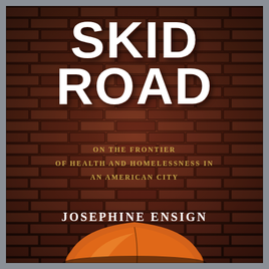[Figure (illustration): Book cover for 'Skid Road: On the Frontier of Health and Homelessness in an American City' by Josephine Ensign. Background is a dark reddish-brown aged brick wall. Large white bold distressed text reads 'SKID ROAD' at the top. Below in smaller gold/tan serif uppercase text: 'ON THE FRONTIER OF HEALTH AND HOMELESSNESS IN AN AMERICAN CITY'. Author name 'JOSEPHINE ENSIGN' in white bold serif uppercase. At the bottom, an orange dome tent is visible in front of the brick wall.]